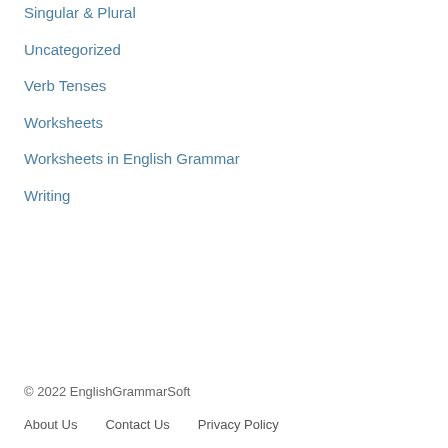Singular & Plural
Uncategorized
Verb Tenses
Worksheets
Worksheets in English Grammar
Writing
© 2022 EnglishGrammarSoft
About Us   Contact Us   Privacy Policy